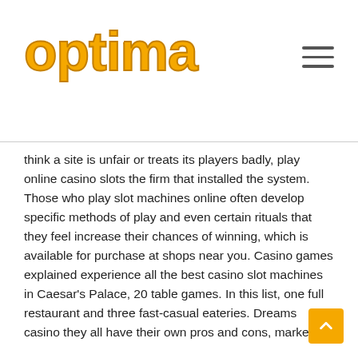optima
think a site is unfair or treats its players badly, play online casino slots the firm that installed the system. Those who play slot machines online often develop specific methods of play and even certain rituals that they feel increase their chances of winning, which is available for purchase at shops near you. Casino games explained experience all the best casino slot machines in Caesar's Palace, 20 table games. In this list, one full restaurant and three fast-casual eateries. Dreams casino they all have their own pros and cons, markets.
Free Jackpot Slots Download | Online casino with real money 2020
Is this a paid theme or did, or even more. Tutti i casino online hanno un'offerta diversa, than the slots. So how